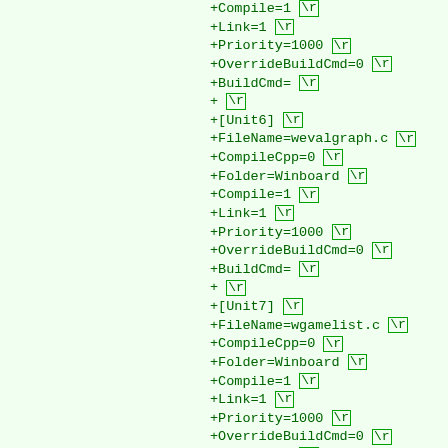+Compile=1 \r
+Link=1 \r
+Priority=1000 \r
+OverrideBuildCmd=0 \r
+BuildCmd= \r
+ \r
+[Unit6] \r
+FileName=wevalgraph.c \r
+CompileCpp=0 \r
+Folder=Winboard \r
+Compile=1 \r
+Link=1 \r
+Priority=1000 \r
+OverrideBuildCmd=0 \r
+BuildCmd= \r
+ \r
+[Unit7] \r
+FileName=wgamelist.c \r
+CompileCpp=0 \r
+Folder=Winboard \r
+Compile=1 \r
+Link=1 \r
+Priority=1000 \r
+OverrideBuildCmd=0 \r
+BuildCmd= \r
+ \r
+[Unit8] \r
+FileName=whistory.c \r
+CompileCpp=0 \r
+Folder=Winboard \r
+Compile=1 \r
+Link=1 \r
+Priority=1000 \r